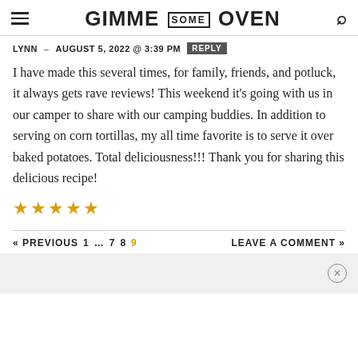GIMME SOME OVEN
LYNN – AUGUST 5, 2022 @ 3:39 PM  REPLY
I have made this several times, for family, friends, and potluck, it always gets rave reviews! This weekend it's going with us in our camper to share with our camping buddies. In addition to serving on corn tortillas, my all time favorite is to serve it over baked potatoes. Total deliciousness!!! Thank you for sharing this delicious recipe!
[Figure (other): Five gold star rating icons]
« PREVIOUS  1  …  7  8  9    LEAVE A COMMENT »